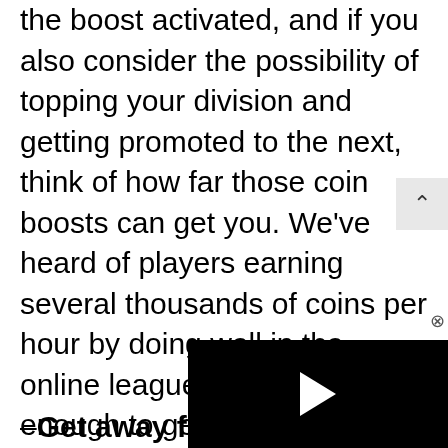the boost activated, and if you also consider the possibility of topping your division and getting promoted to the next, think of how far those coin boosts can get you. We've heard of players earning several thousands of coins per hour by doing well in the online leagues, meaning well enough to get promoted — that, of course, is the big caveat, but as you can see, the coin boosts do a world of good in themselves.
[Figure (screenshot): Black video player overlay with white play button triangle in center]
–Get away from the R